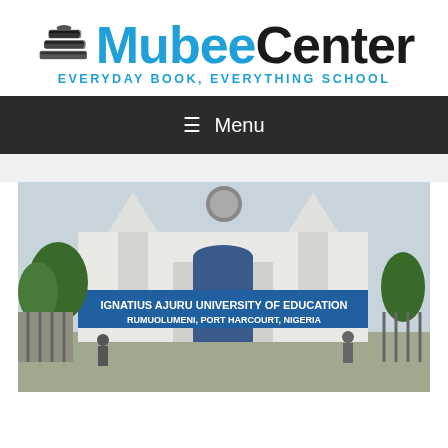[Figure (logo): MubeeCenter logo with stacked books icon, blue 'Mubee' and black 'Center' text, and tagline 'EVERYDAY BOOK, EVERYTHING SCHOOL']
≡  Menu
[Figure (photo): Entrance gate of Ignatius Ajuru University of Education, Rumuolumeni, Port Harcourt, Nigeria. Shows white architecture, university emblem, and banner with institution name.]